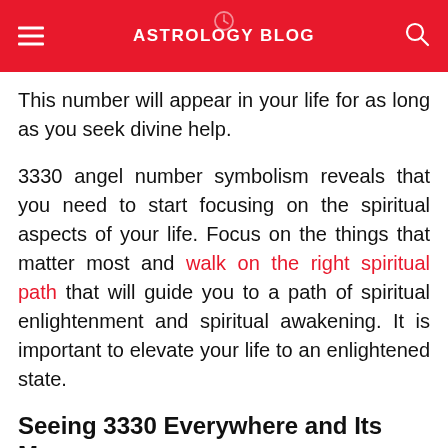ASTROLOGY BLOG
This number will appear in your life for as long as you seek divine help.
3330 angel number symbolism reveals that you need to start focusing on the spiritual aspects of your life. Focus on the things that matter most and walk on the right spiritual path that will guide you to a path of spiritual enlightenment and spiritual awakening. It is important to elevate your life to an enlightened state.
Seeing 3330 Everywhere and Its Messages